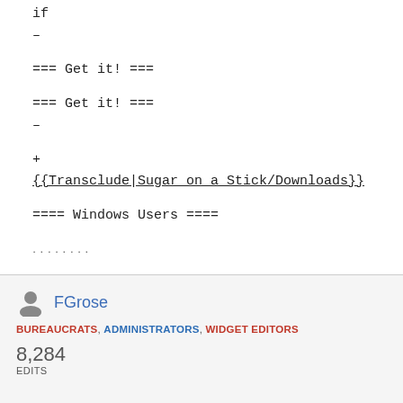if
–
=== Get it! ===
=== Get it! ===
–
+
{{Transclude|Sugar on a Stick/Downloads}}
==== Windows Users ====
FGrose
BUREAUCRATS, ADMINISTRATORS, WIDGET EDITORS
8,284 EDITS